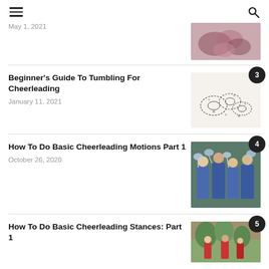≡  🔍
May 1, 2021
Beginner's Guide To Tumbling For Cheerleading
January 11, 2021
How To Do Basic Cheerleading Motions Part 1
October 26, 2020
How To Do Basic Cheerleading Stances: Part 1